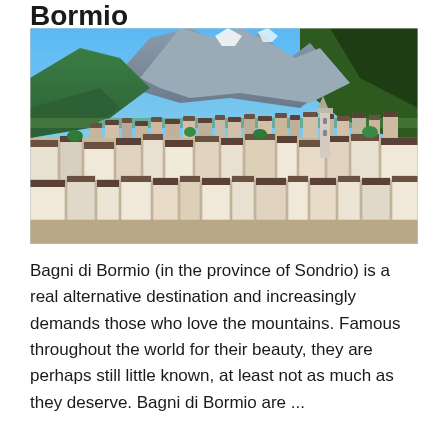Bormio
[Figure (photo): Aerial panoramic view of Bormio town with alpine mountains in background, blue sky, green forested slopes, and dense residential buildings with church tower visible]
Bagni di Bormio (in the province of Sondrio) is a real alternative destination and increasingly demands those who love the mountains. Famous throughout the world for their beauty, they are perhaps still little known, at least not as much as they deserve. Bagni di Bormio are ...